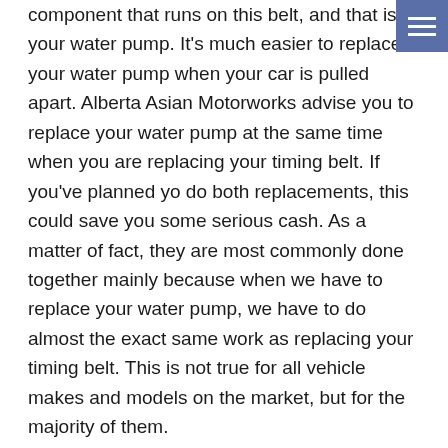component that runs on this belt, and that is your water pump. It's much easier to replace your water pump when your car is pulled apart. Alberta Asian Motorworks advise you to replace your water pump at the same time when you are replacing your timing belt. If you've planned yo do both replacements, this could save you some serious cash. As a matter of fact, they are most commonly done together mainly because when we have to replace your water pump, we have to do almost the exact same work as replacing your timing belt. This is not true for all vehicle makes and models on the market, but for the majority of them.
At Alberta Asian Motorworks auto repair shop, our professional technicians have replaced more timing chains, timing belts and water pumps that we can even remember. If your vehicle needs a new timing belt, water pump or timing chain, give Alberta Asian Motorworks a call or schedule an appointment online.